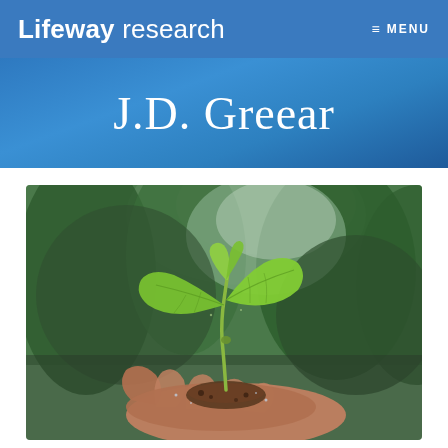Lifeway research  ≡ MENU
J.D. Greear
[Figure (photo): A hand holding a small green seedling plant with two large leaves, with a blurred green forest background]